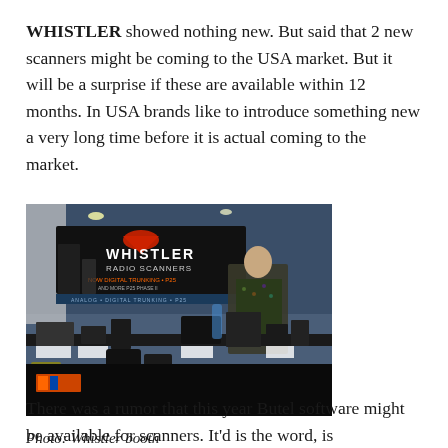WHISTLER showed nothing new. But said that 2 new scanners might be coming to the USA market. But it will be a surprise if these are available within 12 months. In USA brands like to introduce something new a very long time before it is actual coming to the market.
[Figure (photo): Photo of the Whistler booth at a trade show, showing a banner reading 'WHISTLER RADIO SCANNERS', display tables with radio scanners, a man seated behind the table, and chairs in the foreground.]
Photo: Whistler booth
There was a rumor that this year Butel software might be available for scanners. It'd is the word, is